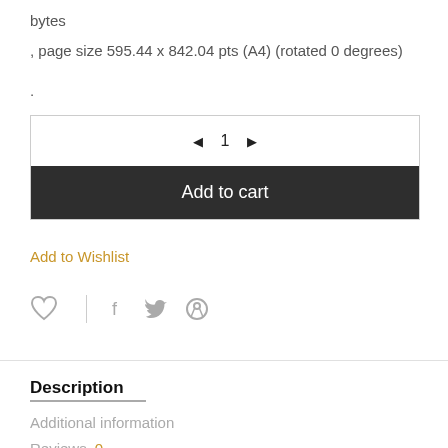bytes
, page size 595.44 x 842.04 pts (A4) (rotated 0 degrees)
.
◄  1  ►
Add to cart
Add to Wishlist
[Figure (infographic): Social sharing icons row: heart icon, vertical divider, facebook icon, twitter icon, pinterest icon]
Description
Additional information
Reviews  0